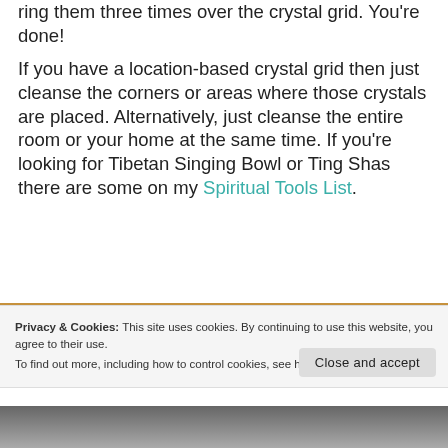ring them three times over the crystal grid. You're done!
If you have a location-based crystal grid then just cleanse the corners or areas where those crystals are placed. Alternatively, just cleanse the entire room or your home at the same time. If you're looking for Tibetan Singing Bowl or Ting Shas there are some on my Spiritual Tools List.
[Figure (photo): Partial photo of wooden surface or singing bowl, cropped at bottom of page]
Privacy & Cookies: This site uses cookies. By continuing to use this website, you agree to their use.
To find out more, including how to control cookies, see here: Cookie Policy